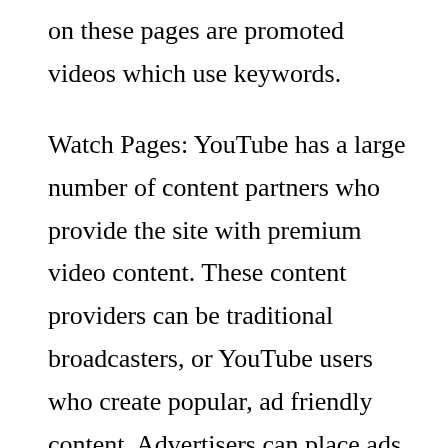on these pages are promoted videos which use keywords.

Watch Pages: YouTube has a large number of content partners who provide the site with premium video content. These content providers can be traditional broadcasters, or YouTube users who create popular, ad friendly content. Advertisers can place ads against this content on watch pages and can target users while they’re watching video content, commenting on what they’re